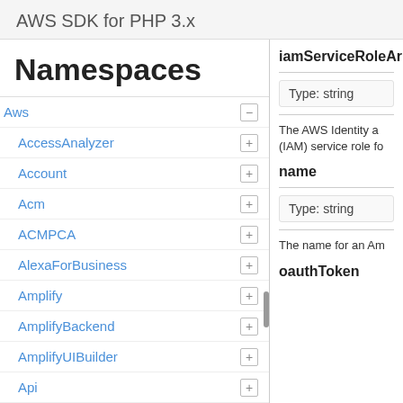AWS SDK for PHP 3.x
Namespaces
Aws
AccessAnalyzer
Account
Acm
ACMPCA
AlexaForBusiness
Amplify
AmplifyBackend
AmplifyUIBuilder
Api
ApiGateway
ApiGatewayManagementApi
iamServiceRoleArn
Type: string
The AWS Identity a... (IAM) service role fo...
name
Type: string
The name for an Am...
oauthToken